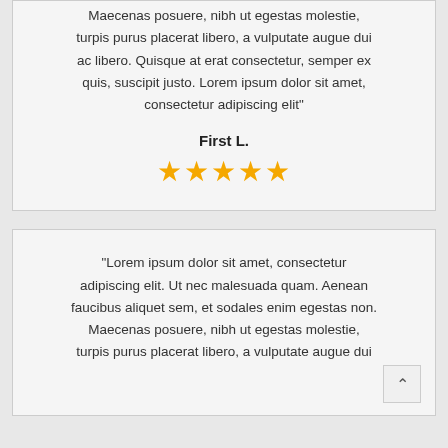Maecenas posuere, nibh ut egestas molestie, turpis purus placerat libero, a vulputate augue dui ac libero. Quisque at erat consectetur, semper ex quis, suscipit justo. Lorem ipsum dolor sit amet, consectetur adipiscing elit"
First L.
[Figure (other): Five gold star rating icons]
"Lorem ipsum dolor sit amet, consectetur adipiscing elit. Ut nec malesuada quam. Aenean faucibus aliquet sem, et sodales enim egestas non. Maecenas posuere, nibh ut egestas molestie, turpis purus placerat libero, a vulputate augue dui